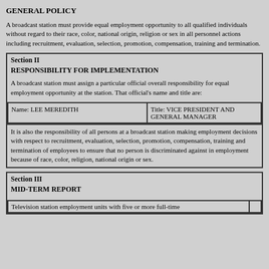GENERAL POLICY
A broadcast station must provide equal employment opportunity to all qualified individuals without regard to their race, color, national origin, religion or sex in all personnel actions including recruitment, evaluation, selection, promotion, compensation, training and termination.
Section II
RESPONSIBILITY FOR IMPLEMENTATION
A broadcast station must assign a particular official overall responsibility for equal employment opportunity at the station. That official's name and title are:
| Name | Title |
| --- | --- |
| Name: LEE MEREDITH | Title: VICE PRESIDENT AND GENERAL MANAGER |
It is also the responsibility of all persons at a broadcast station making employment decisions with respect to recruitment, evaluation, selection, promotion, compensation, training and termination of employees to ensure that no person is discriminated against in employment because of race, color, religion, national origin or sex.
Section III
MID-TERM REPORT
Television station employment units with five or more full-time